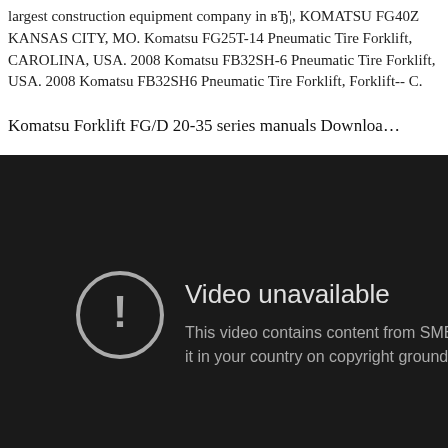largest construction equipment company in вЂ¦, KOMATSU FG40Z KANSAS CITY, MO. Komatsu FG25T-14 Pneumatic Tire Forklift, CAROLINA, USA. 2008 Komatsu FB32SH-6 Pneumatic Tire Forklift, USA. 2008 Komatsu FB32SH6 Pneumatic Tire Forklift, Forklift-- C.
Komatsu Forklift FG/D 20-35 series manuals Downloa…
[Figure (screenshot): Dark video player showing 'Video unavailable' message: 'This video contains content from SME, w... it in your country on copyright grounds' with a circle-exclamation icon.]